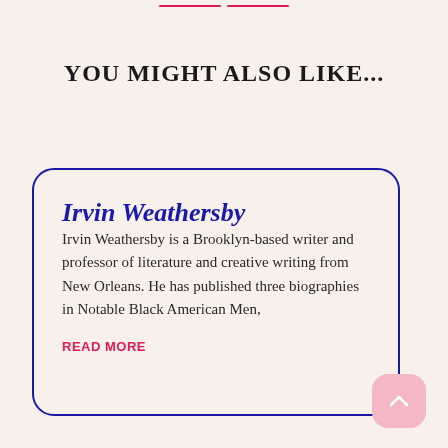YOU MIGHT ALSO LIKE...
Irvin Weathersby
Irvin Weathersby is a Brooklyn-based writer and professor of literature and creative writing from New Orleans. He has published three biographies in Notable Black American Men,
READ MORE